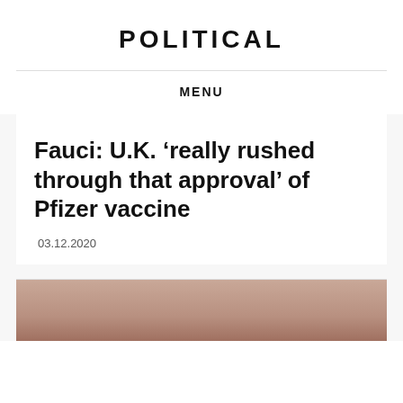POLITICAL
MENU
Fauci: U.K. ‘really rushed through that approval’ of Pfizer vaccine
03.12.2020
[Figure (photo): Photo of a person, partially visible, cropped at bottom of page]